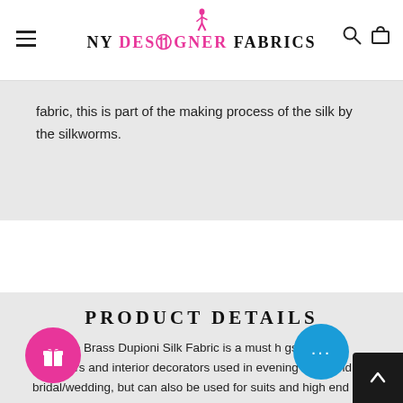NY DESIGNER FABRICS
fabric, this is part of the making process of the silk by the silkworms.
PRODUCT DETAILS
r Antique Brass Dupioni Silk Fabric is a must h gst fashion designers and interior decorators used in evening wear and bridal/wedding, but can also be used for suits and high end sportswear and home